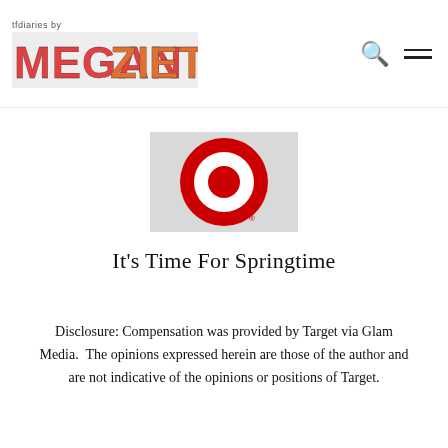tfdiaries by MEGAN ZIETZ
[Figure (logo): Target bullseye logo (red concentric circles) on a light gray rectangular background]
It's Time For Springtime
Disclosure: Compensation was provided by Target via Glam Media.  The opinions expressed herein are those of the author and are not indicative of the opinions or positions of Target.